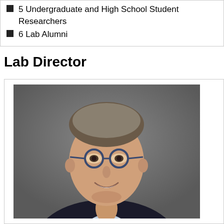5 Undergraduate and High School Student Researchers
6 Lab Alumni
Lab Director
[Figure (photo): Professional headshot of a middle-aged man with short grey-brown hair, round dark blue glasses, smiling, wearing a dark blazer and light blue dress shirt, photographed against a grey background.]